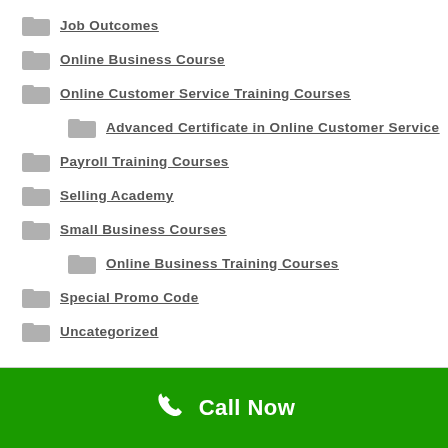Job Outcomes
Online Business Course
Online Customer Service Training Courses
Advanced Certificate in Online Customer Service
Payroll Training Courses
Selling Academy
Small Business Courses
Online Business Training Courses
Special Promo Code
Uncategorized
Call Now